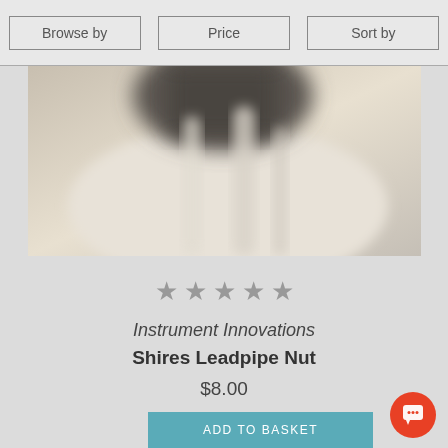Browse by | Price | Sort by
[Figure (photo): Close-up blurred photo of a metal leadpipe nut instrument part on a light background]
[Figure (other): Five star rating icons in grey]
Instrument Innovations
Shires Leadpipe Nut
$8.00
ADD TO BASKET